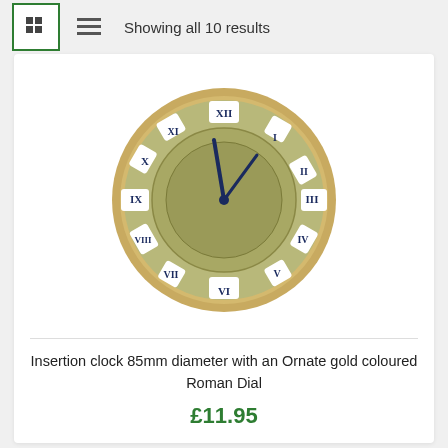Showing all 10 results
[Figure (photo): An insertion clock with 85mm diameter, featuring an ornate gold coloured Roman Dial with Roman numerals on white rectangular segments, gold bezel, and clock hands pointing near 12 o'clock.]
Insertion clock 85mm diameter with an Ornate gold coloured Roman Dial
£11.95